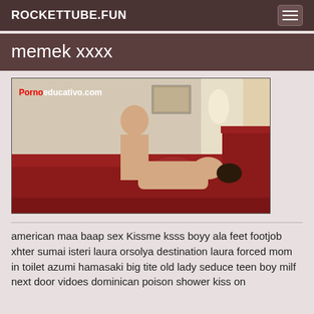ROCKETTUBE.FUN
memek xxxx
[Figure (photo): Photo with watermark 'Pornoeducativo.com' showing two people on a red sofa/couch indoors]
american maa baap sex Kissme ksss boyy ala feet footjob xhter sumai isteri laura orsolya destination laura forced mom in toilet azumi hamasaki big tite old lady seduce teen boy milf next door vidoes dominican poison shower kiss on